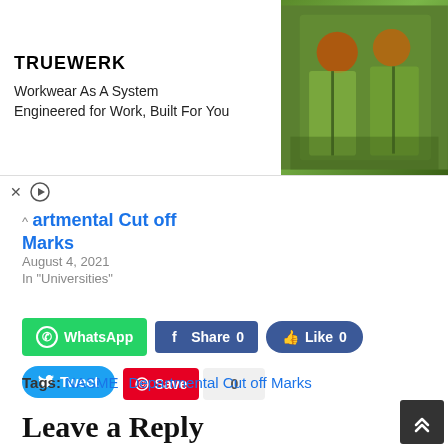[Figure (photo): Truewerk advertisement banner showing two workers in green high-visibility shirts with helmets outdoors. Text: 'Workwear As A System, Engineered for Work, Built For You']
artmental Cut off Marks
August 4, 2021
In "Universities"
WhatsApp  Share 0  Like 0  Tweet  Save  0
Tags: NASME  Departmental Cut off Marks
Leave a Reply